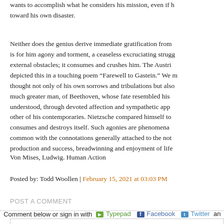wants to accomplish what he considers his mission, even if he is moving toward his own disaster.
Neither does the genius derive immediate gratification from his work. It is for him agony and torment, a ceaseless excruciating struggle not only external obstacles; it consumes and crushes him. The Austrian poet depicted this in a touching poem “Farewell to Gastein.” We m thought not only of his own sorrows and tribulations but also much greater man, of Beethoven, whose fate resembled his understood, through devoted affection and sympathetic app other of his contemporaries. Nietzsche compared himself to consumes and destroys itself. Such agonies are phenomena common with the connotations generally attached to the not production and success, breadwinning and enjoyment of life
Von Mises, Ludwig. Human Action
Posted by: Todd Woollen | February 15, 2021 at 03:03 PM
POST A COMMENT
Comment below or sign in with  Typepad  Facebook  Twitter  an